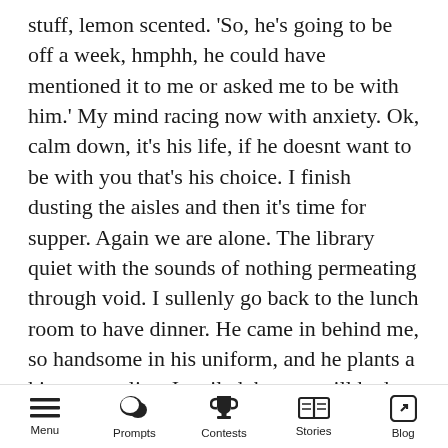stuff, lemon scented. 'So, he's going to be off a week, hmphh, he could have mentioned it to me or asked me to be with him.' My mind racing now with anxiety. Ok, calm down, it's his life, if he doesnt want to be with you that's his choice. I finish dusting the aisles and then it's time for supper. Again we are alone. The library quiet with the sounds of nothing permeating through void. I sullenly go back to the lunch room to have dinner. He came in behind me, so handsome in his uniform, and he plants a kiss on my lips. I smiled, but we still had unfinished things to discuss.
"What are you going to do when your off"? My
Menu | Prompts | Contests | Stories | Blog